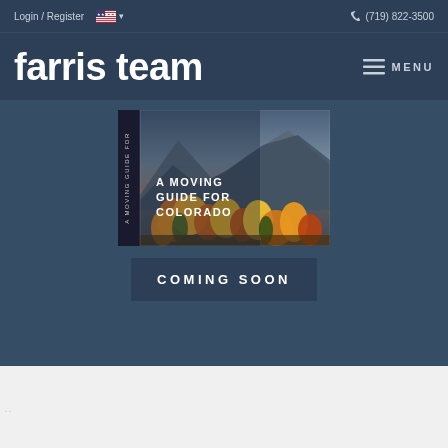Login / Register  (719) 822-3500
farris team
MENU
[Figure (illustration): Book cover image titled 'A Moving Guide for Colorado' with a mountain landscape showing autumn foliage of orange and yellow trees with mountains in the background. The book has a vertical spine on the left side with rotated text 'A MOVING GUIDE FOR'.]
COMING SOON